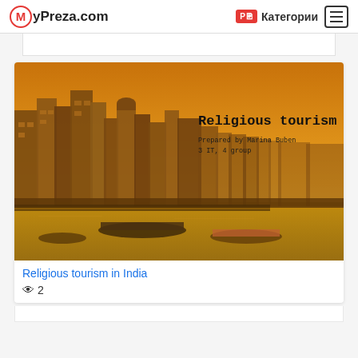MyPreza.com  Категории
[Figure (screenshot): Thumbnail image of a presentation slide titled 'Religious tourism in India', showing Indian riverside architecture (ghats) at golden sunset. Slide subtitle reads 'Prepared by Marina Buben, 3 IT, 4 group'.]
Religious tourism in India
👁 2